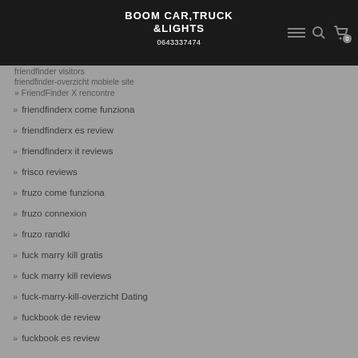BOOM CAR,TRUCK &LIGHTS | 0643337474
friendfinder visitors
friendfinder-overzicht mobiele site
FriendFinder X rencontre
friendfinderx come funziona
friendfinderx es review
friendfinderx it reviews
frisco reviews
fruzo come funziona
fruzo connexion
fruzo randki
fuck marry kill gratis
fuck marry kill reviews
fuck-marry-kill-overzicht Dating
fuckbook de review
fuckbook es review